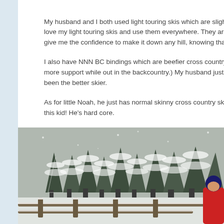My husband and I both used light touring skis which are slightly love my light touring skis and use them everywhere. They are s give me the confidence to make it down any hill, knowing that I
I also have NNN BC bindings which are beefier cross country s more support while out in the backcountry.) My husband just ha been the better skier.
As for little Noah, he just has normal skinny cross country skis for this kid! He's hard core.
[Figure (photo): Winter outdoor photo showing snow-covered evergreen trees in the background, a snow-covered wooden railing/fence in the foreground, and a person in a red jacket visible at the right edge of the image.]